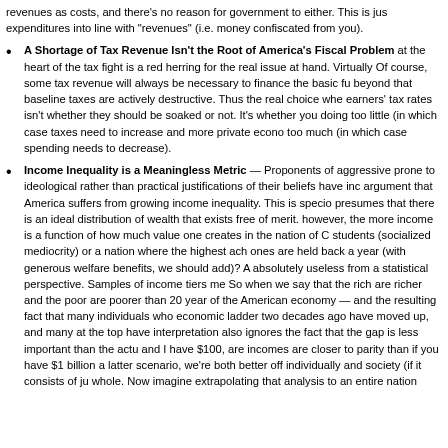revenues as costs, and there's no reason for government to either. This is just expenditures into line with "revenues" (i.e. money confiscated from you).
A Shortage of Tax Revenue Isn't the Root of America's Fiscal Problem at the heart of the tax fight is a red herring for the real issue at hand. Virtually Of course, some tax revenue will always be necessary to finance the basic fu beyond that baseline taxes are actively destructive. Thus the real choice whe earners' tax rates isn't whether they should be soaked or not. It's whether you doing too little (in which case taxes need to increase and more private econo too much (in which case spending needs to decrease).
Income Inequality is a Meaningless Metric — Proponents of aggressive prone to ideological rather than practical justifications of their beliefs have inc argument that America suffers from growing income inequality. This is specio presumes that there is an ideal distribution of wealth that exists free of merit. however, the more income is a function of how much value one creates in the nation of C students (socialized mediocrity) or a nation where the highest ach ones are held back a year (with generous welfare benefits, we should add)? A absolutely useless from a statistical perspective. Samples of income tiers me So when we say that the rich are richer and the poor are poorer than 20 year of the American economy — and the resulting fact that many individuals who economic ladder two decades ago have moved up, and many at the top have interpretation also ignores the fact that the gap is less important than the actu and I have $100, are incomes are closer to parity than if you have $1 billion a latter scenario, we're both better off individually and society (if it consists of ju whole. Now imagine extrapolating that analysis to an entire nation